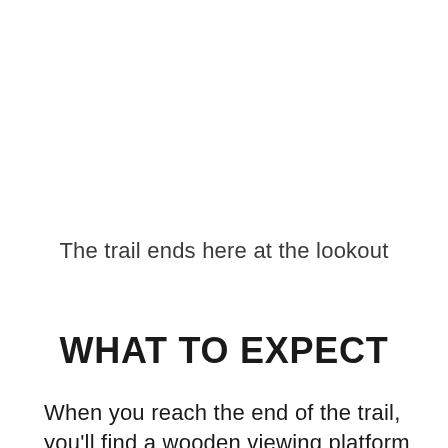The trail ends here at the lookout
WHAT TO EXPECT
When you reach the end of the trail, you'll find a wooden viewing platform that offers